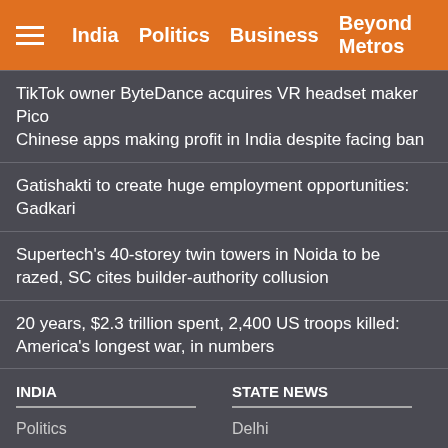India  Politics  Business  Beyond Metros
TikTok owner ByteDance acquires VR headset maker Pico
Chinese apps making profit in India despite facing ban
Gatishakti to create huge employment opportunities: Gadkari
Supertech's 40-storey twin towers in Noida to be razed, SC cites builder-authority collusion
20 years, $2.3 trillion spent, 2,400 US troops killed: America's longest war, in numbers
INDIA
Politics
Economy
Education
Celebrity News
STATE NEWS
Delhi
Karnataka
Lakshadweep
kerala